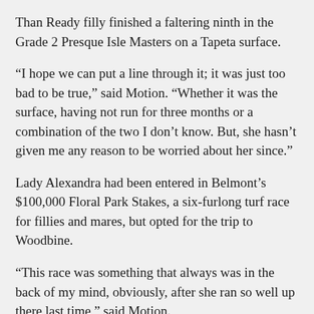Than Ready filly finished a faltering ninth in the Grade 2 Presque Isle Masters on a Tapeta surface.
“I hope we can put a line through it; it was just too bad to be true,” said Motion. “Whether it was the surface, having not run for three months or a combination of the two I don’t know. But, she hasn’t given me any reason to be worried about her since.”
Lady Alexandra had been entered in Belmont’s $100,000 Floral Park Stakes, a six-furlong turf race for fillies and mares, but opted for the trip to Woodbine.
“This race was something that always was in the back of my mind, obviously, after she ran so well up there last time,” said Motion.
“She seems in great form; I couldn’t be happier with how she’s doing.”